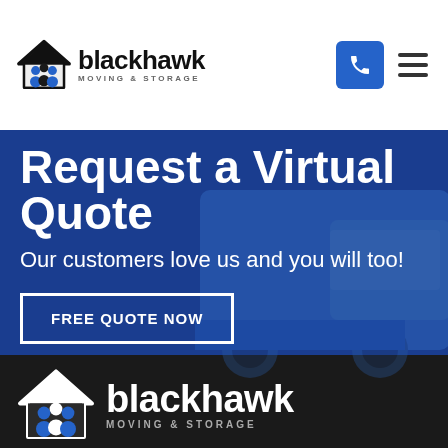[Figure (logo): Blackhawk Moving & Storage logo with house/people icon and company name]
Request a Virtual Quote
Our customers love us and you will too!
FREE QUOTE NOW
[Figure (logo): Blackhawk Moving & Storage footer logo (white version) with house/people icon on dark background]
Blackhawk Moving & Storage